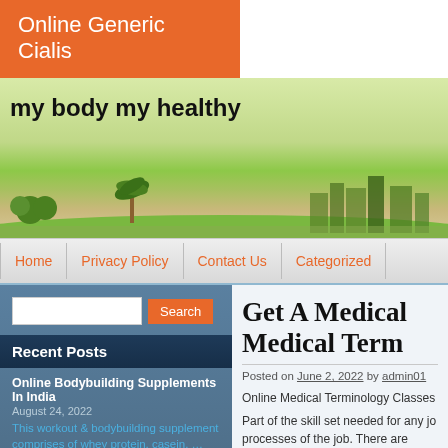Online Generic Cialis
my body my healthy
Home
Privacy Policy
Contact Us
Categorized
Recent Posts
Online Bodybuilding Supplements In India
August 24, 2022
This workout & bodybuilding supplement comprises of whey protein, casein, …
Top 5 Hospitals In Navi Mumbai
August 24, 2022
Heres a list of the top hospitals in
Get A Medical Medical Term
Posted on June 2, 2022 by admin01
Online Medical Terminology Classes
Part of the skill set needed for any jo processes of the job. There are certai within a context. For example, the w